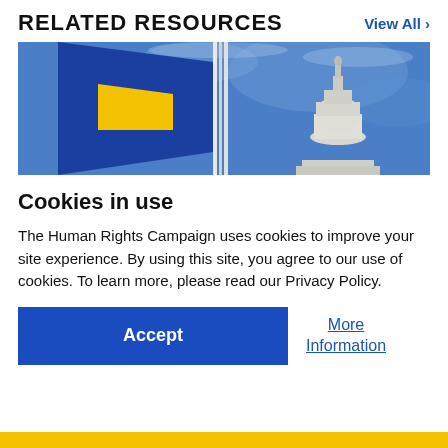RELATED RESOURCES
View All >
[Figure (photo): A blue and yellow Human Rights Campaign flag waving in front of the US Capitol dome against a blue sky.]
Cookies in use
The Human Rights Campaign uses cookies to improve your site experience. By using this site, you agree to our use of cookies. To learn more, please read our Privacy Policy.
Accept
More Information